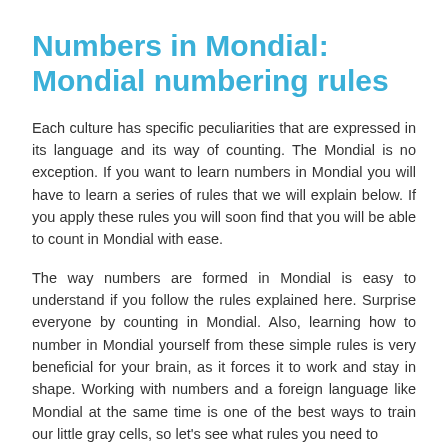Numbers in Mondial: Mondial numbering rules
Each culture has specific peculiarities that are expressed in its language and its way of counting. The Mondial is no exception. If you want to learn numbers in Mondial you will have to learn a series of rules that we will explain below. If you apply these rules you will soon find that you will be able to count in Mondial with ease.
The way numbers are formed in Mondial is easy to understand if you follow the rules explained here. Surprise everyone by counting in Mondial. Also, learning how to number in Mondial yourself from these simple rules is very beneficial for your brain, as it forces it to work and stay in shape. Working with numbers and a foreign language like Mondial at the same time is one of the best ways to train our little gray cells, so let's see what rules you need to